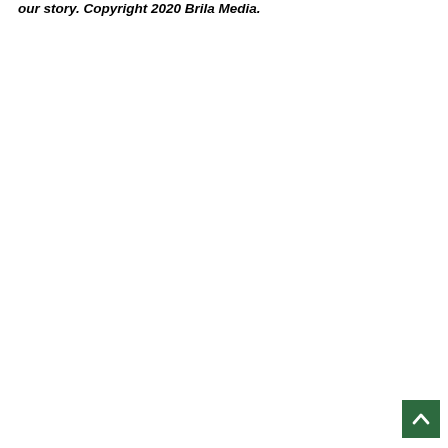our story. Copyright 2020 Brila Media.
[Figure (other): Green scroll-to-top button with upward chevron arrow in bottom-right corner]